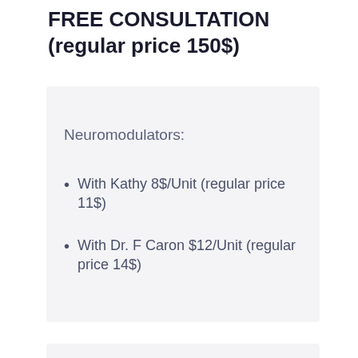FREE CONSULTATION (regular price 150$)
Neuromodulators:
With Kathy 8$/Unit (regular price 11$)
With Dr. F Caron $12/Unit (regular price 14$)